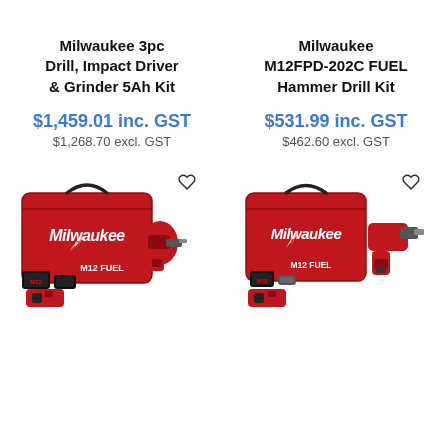Milwaukee 3pc Drill, Impact Driver & Grinder 5Ah Kit
$1,459.01 inc. GST
$1,268.70 excl. GST
Milwaukee M12FPD-202C FUEL Hammer Drill Kit
$531.99 inc. GST
$462.60 excl. GST
[Figure (photo): Milwaukee 3pc Drill, Impact Driver & Grinder 5Ah Kit product photo showing red bag, drill, batteries and charger with M12 FUEL branding]
[Figure (photo): Milwaukee M12FPD-202C FUEL Hammer Drill Kit product photo showing red bag, hammer drill, battery and charger with M12 FUEL branding]